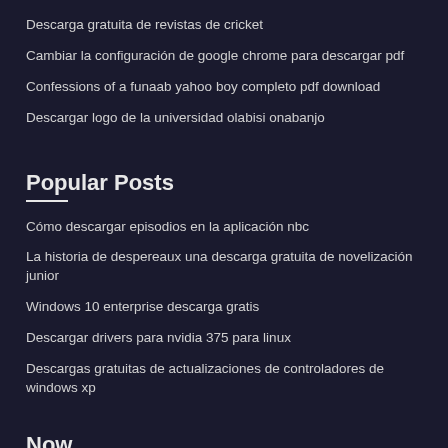Descarga gratuita de revistas de cricket
Cambiar la configuración de google chrome para descargar pdf
Confessions of a funaab yahoo boy completo pdf download
Descargar logo de la universidad olabisi onabanjo
Popular Posts
Cómo descargar episodios en la aplicación nbc
La historia de despereaux una descarga gratuita de novelización junior
Windows 10 enterprise descarga gratis
Descargar drivers para nvidia 375 para linux
Descargas gratuitas de actualizaciones de controladores de windows xp
Now